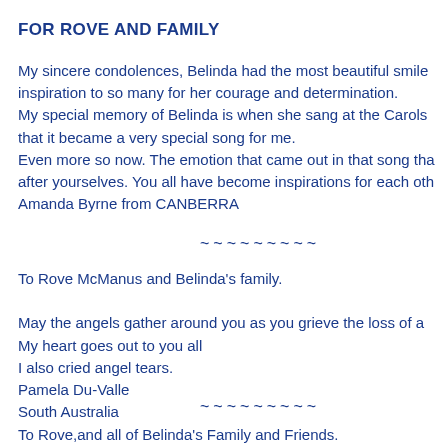FOR ROVE AND FAMILY
My sincere condolences, Belinda had the most beautiful smile inspiration to so many for her courage and determination. My special memory of Belinda is when she sang at the Carols that it became a very special song for me. Even more so now. The emotion that came out in that song tha after yourselves. You all have become inspirations for each oth Amanda Byrne from CANBERRA
~~~~~~~~~
To Rove McManus and Belinda's family.
May the angels gather around you as you grieve the loss of a My heart goes out to you all I also cried angel tears. Pamela Du-Valle South Australia
~~~~~~~~~
To Rove,and all of Belinda's Family and Friends. You were such a fighter and Beautiful person. You will be so d